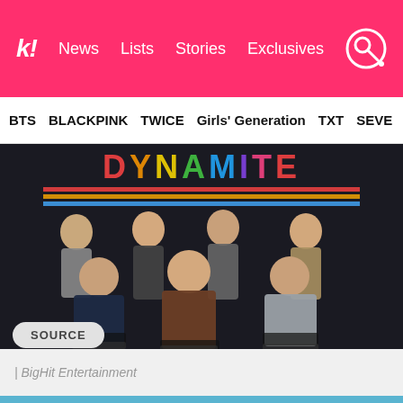k! News  Lists  Stories  Exclusives
BTS  BLACKPINK  TWICE  Girls' Generation  TXT  SEVE
[Figure (photo): BTS group photo with 7 members seated and standing in front of a dark background with colorful DYNAMITE text logo. Members wearing formal/semi-formal attire.]
| BigHit Entertainment
SOURCE
[Figure (photo): Bottom strip showing partial image, appears to be blue/teal background]